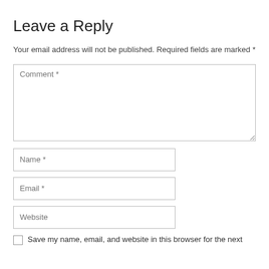Leave a Reply
Your email address will not be published. Required fields are marked *
[Figure (screenshot): Comment textarea input field with placeholder text 'Comment *']
[Figure (screenshot): Name input field with placeholder text 'Name *']
[Figure (screenshot): Email input field with placeholder text 'Email *']
[Figure (screenshot): Website input field with placeholder text 'Website']
Save my name, email, and website in this browser for the next